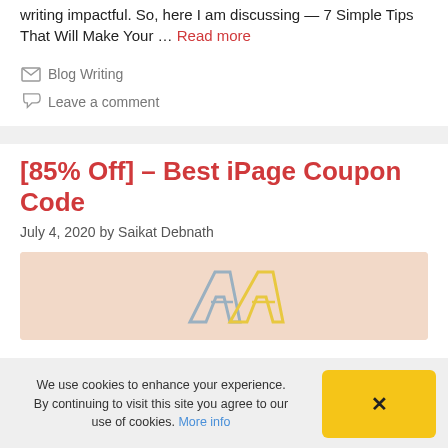writing impactful. So, here I am discussing — 7 Simple Tips That Will Make Your … Read more
Blog Writing
Leave a comment
[85% Off] – Best iPage Coupon Code
July 4, 2020 by Saikat Debnath
[Figure (illustration): Beige/cream background image with stylized letter A shapes in grey/yellow tones, partially visible]
We use cookies to enhance your experience. By continuing to visit this site you agree to our use of cookies. More info